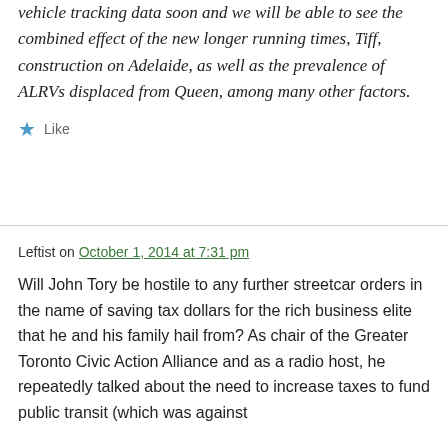vehicle tracking data soon and we will be able to see the combined effect of the new longer running times, Tiff, construction on Adelaide, as well as the prevalence of ALRVs displaced from Queen, among many other factors.
Like
Leftist on October 1, 2014 at 7:31 pm
Will John Tory be hostile to any further streetcar orders in the name of saving tax dollars for the rich business elite that he and his family hail from? As chair of the Greater Toronto Civic Action Alliance and as a radio host, he repeatedly talked about the need to increase taxes to fund public transit (which was against